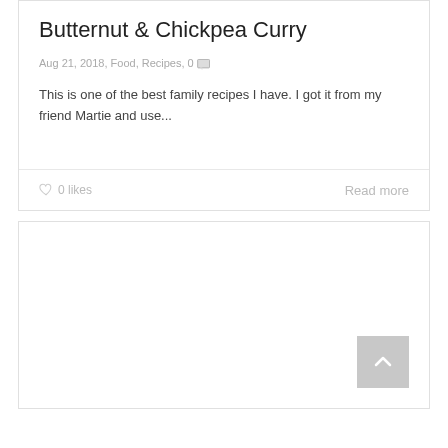Butternut & Chickpea Curry
Aug 21, 2018, Food, Recipes, 0
This is one of the best family recipes I have. I got it from my friend Martie and use...
0 likes
Read more
[Figure (other): Empty card section with a back-to-top button (upward caret) in the bottom-right corner]